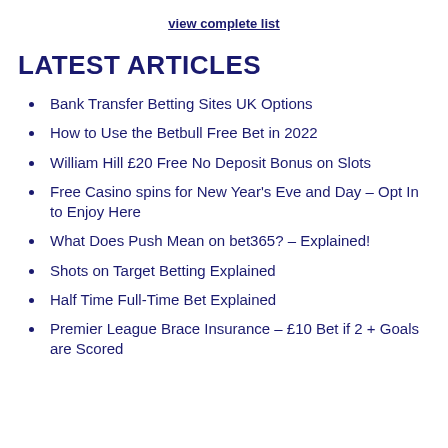view complete list
LATEST ARTICLES
Bank Transfer Betting Sites UK Options
How to Use the Betbull Free Bet in 2022
William Hill £20 Free No Deposit Bonus on Slots
Free Casino spins for New Year's Eve and Day – Opt In to Enjoy Here
What Does Push Mean on bet365? – Explained!
Shots on Target Betting Explained
Half Time Full-Time Bet Explained
Premier League Brace Insurance – £10 Bet if 2 + Goals are Scored